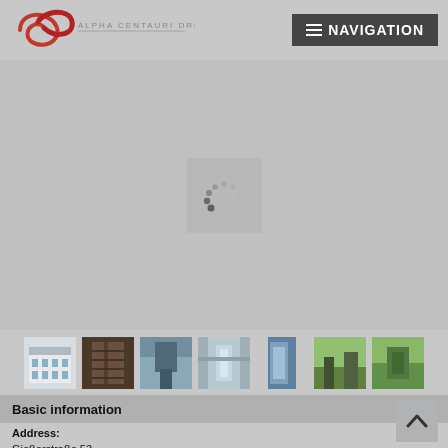[Figure (logo): Alpha Centauri Dresden logo — red swoosh/infinity symbol with text 'ALPHA CENTAURI DRESDEN']
[Figure (screenshot): Navigation button — dark grey rectangle with hamburger menu icon and text 'NAVIGATION']
[Figure (screenshot): Main image viewer area showing a loading spinner (dots in arc) on grey background]
[Figure (photo): Thumbnail strip with 7 small property photos: building exterior, staircase interior views, courtyard/garden views]
Basic information
Address:
Gießerstraße 53
09130 Chemnitz
Sachsen
District:
Sonnenberg